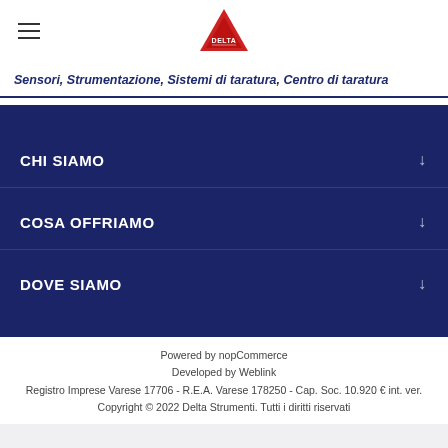Delta Strumenti logo and hamburger menu
Sensori, Strumentazione, Sistemi di taratura, Centro di taratura
CHI SIAMO
COSA OFFRIAMO
DOVE SIAMO
Powered by nopCommerce
Developed by Weblink
Registro Imprese Varese 17706 - R.E.A. Varese 178250 - Cap. Soc. 10.920 € int. ver.
Copyright © 2022 Delta Strumenti. Tutti i diritti riservati